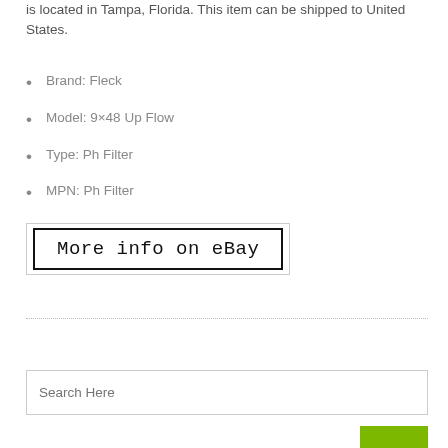is located in Tampa, Florida. This item can be shipped to United States.
Brand: Fleck
Model: 9×48 Up Flow
Type: Ph Filter
MPN: Ph Filter
More info on eBay
Search Here